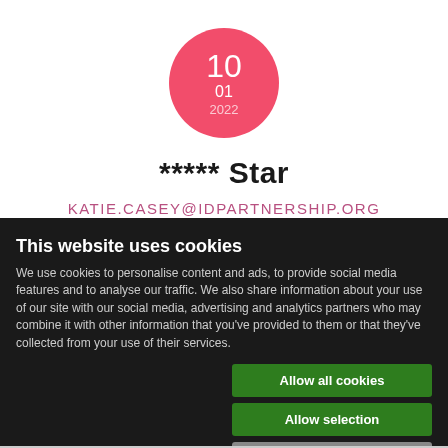[Figure (infographic): Pink circle with date: 10 / 01 / 2022]
***** Star
KATIE.CASEY@IDPARTNERSHIP.ORG
This website uses cookies
We use cookies to personalise content and ads, to provide social media features and to analyse our traffic. We also share information about your use of our site with our social media, advertising and analytics partners who may combine it with other information that you've provided to them or that they've collected from your use of their services.
Allow all cookies
Allow selection
Use necessary cookies only